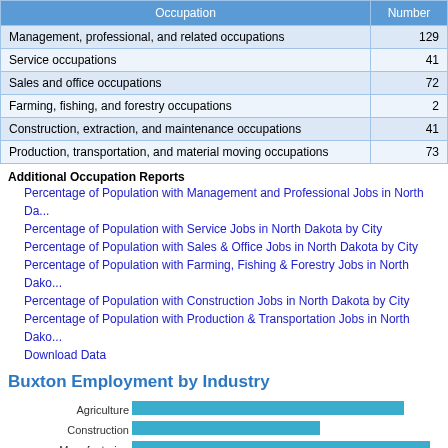| Occupation | Number |
| --- | --- |
| Management, professional, and related occupations | 129 |
| Service occupations | 41 |
| Sales and office occupations | 72 |
| Farming, fishing, and forestry occupations | 2 |
| Construction, extraction, and maintenance occupations | 41 |
| Production, transportation, and material moving occupations | 73 |
Additional Occupation Reports
Percentage of Population with Management and Professional Jobs in North Dakota by City
Percentage of Population with Service Jobs in North Dakota by City
Percentage of Population with Sales & Office Jobs in North Dakota by City
Percentage of Population with Farming, Fishing & Forestry Jobs in North Dakota by City
Percentage of Population with Construction Jobs in North Dakota by City
Percentage of Population with Production & Transportation Jobs in North Dakota by City
Download Data
Buxton Employment by Industry
[Figure (bar-chart): Buxton Employment by Industry]